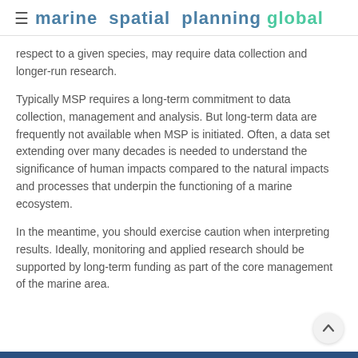marine spatial planning global
respect to a given species, may require data collection and longer-run research.
Typically MSP requires a long-term commitment to data collection, management and analysis. But long-term data are frequently not available when MSP is initiated. Often, a data set extending over many decades is needed to understand the significance of human impacts compared to the natural impacts and processes that underpin the functioning of a marine ecosystem.
In the meantime, you should exercise caution when interpreting results. Ideally, monitoring and applied research should be supported by long-term funding as part of the core management of the marine area.